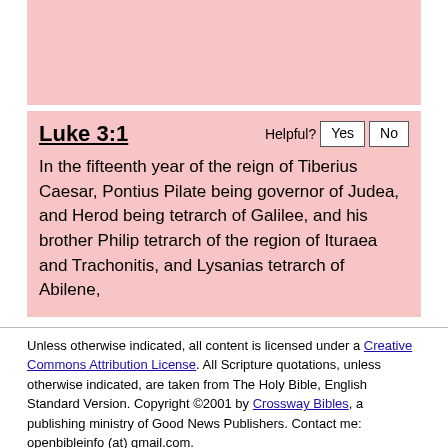[Figure (other): Pink background placeholder box at the top of the page]
Luke 3:1
In the fifteenth year of the reign of Tiberius Caesar, Pontius Pilate being governor of Judea, and Herod being tetrarch of Galilee, and his brother Philip tetrarch of the region of Ituraea and Trachonitis, and Lysanias tetrarch of Abilene,
Unless otherwise indicated, all content is licensed under a Creative Commons Attribution License. All Scripture quotations, unless otherwise indicated, are taken from The Holy Bible, English Standard Version. Copyright ©2001 by Crossway Bibles, a publishing ministry of Good News Publishers. Contact me: openbibleinfo (at) gmail.com.